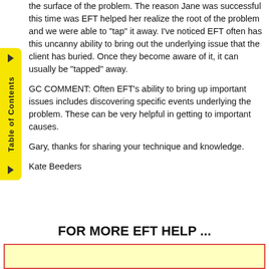the surface of the problem. The reason Jane was successful this time was EFT helped her realize the root of the problem and we were able to "tap" it away. I've noticed EFT often has this uncanny ability to bring out the underlying issue that the client has buried. Once they become aware of it, it can usually be "tapped" away.
GC COMMENT: Often EFT's ability to bring up important issues includes discovering specific events underlying the problem. These can be very helpful in getting to important causes.
Gary, thanks for sharing your technique and knowledge.
Kate Beeders
FOR MORE EFT HELP ...